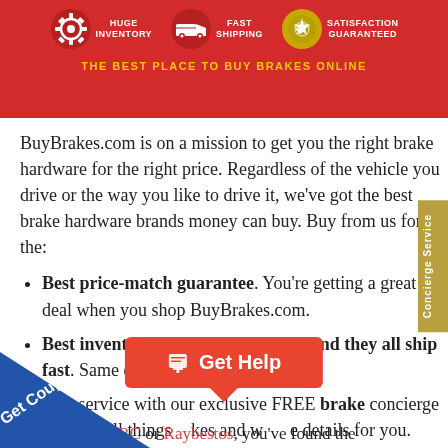[Figure (infographic): Red banner with icons for Huge Inventory, Fast Shipping, Satisfaction Guaranteed, and tagline THE BEST PLACE TO BUY BRAKES ONLINE]
BuyBrakes.com is on a mission to get you the right brake hardware for the right price. Regardless of the vehicle you drive or the way you like to drive it, we've got the best brake hardware brands money can buy. Buy from us for the:
Best price-match guarantee. You're getting a great deal when you shop BuyBrakes.com.
Best inventory of brake hardware, and they all ship fast. Same day when we can.
Best service with our exclusive FREE brake concierge team — experts in all things brakes and who handle the details for you.
...to EBC or Raybestos, you've found the